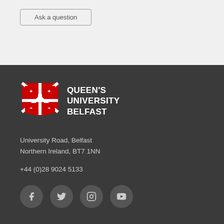Ask a question
[Figure (logo): Queen's University Belfast logo with red shield crest and white text]
University Road, Belfast
Northern Ireland, BT7 1NN
+44 (0)28 9024 5133
[Figure (infographic): Social media icons: Facebook, Twitter, Instagram, YouTube — white icons on dark circular backgrounds]